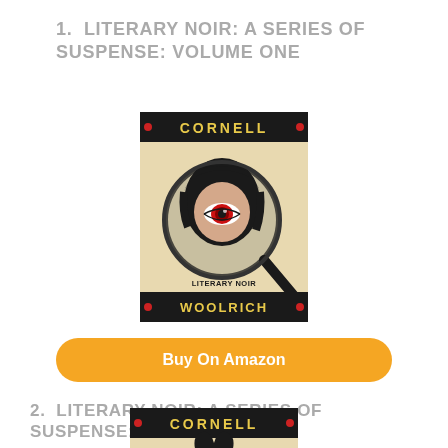1. LITERARY NOIR: A SERIES OF SUSPENSE: VOLUME ONE
[Figure (illustration): Book cover of Literary Noir: A Series of Suspense Volume One by Cornell Woolrich. Tan/cream background with a magnifying glass showing a woman's eye with red iris. Text reads CORNELL at top in red/white on black banner, LITERARY NOIR A SERIES OF SUSPENSE VOLUME I in center, WOOLRICH at bottom in red/white on black banner.]
Buy On Amazon
2. LITERARY NOIR: A SERIES OF SUSPENSE: VOLUME TWO
[Figure (illustration): Partial book cover of Literary Noir: A Series of Suspense Volume Two by Cornell Woolrich. Tan/cream background with Cornell banner at top, partial illustration visible.]